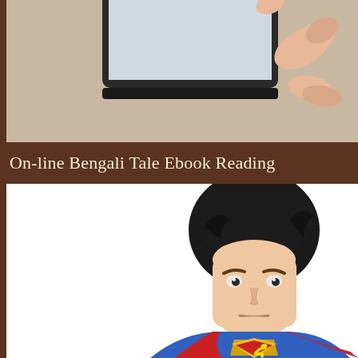[Figure (photo): Top portion showing a hand touching/pressing a tablet or smartphone device, with the device edge visible at top. Background is beige/tan color.]
On-line Bengali Tale Ebook Reading
[Figure (photo): A LEGO Superman minifigure with black hair, stern expression, wearing blue suit with iconic red and yellow S shield on chest and red cape. White background.]